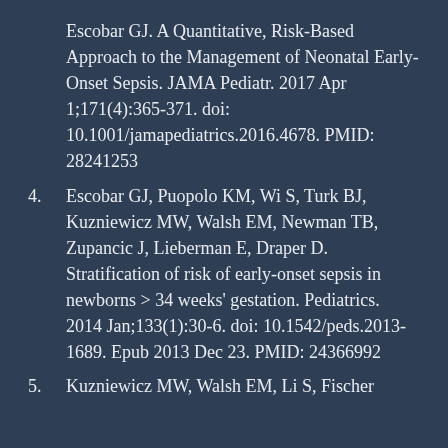Escobar GJ. A Quantitative, Risk-Based Approach to the Management of Neonatal Early-Onset Sepsis. JAMA Pediatr. 2017 Apr 1;171(4):365-371. doi: 10.1001/jamapediatrics.2016.4678. PMID: 28241253
4. Escobar GJ, Puopolo KM, Wi S, Turk BJ, Kuzniewicz MW, Walsh EM, Newman TB, Zupancic J, Lieberman E, Draper D. Stratification of risk of early-onset sepsis in newborns > 34 weeks' gestation. Pediatrics. 2014 Jan;133(1):30-6. doi: 10.1542/peds.2013-1689. Epub 2013 Dec 23. PMID: 24366992
5. Kuzniewicz MW, Walsh EM, Li S, Fischer